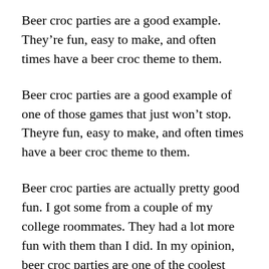Beer croc parties are a good example. They’re fun, easy to make, and often times have a beer croc theme to them.
Beer croc parties are a good example of one of those games that just won’t stop. Theyre fun, easy to make, and often times have a beer croc theme to them.
Beer croc parties are actually pretty good fun. I got some from a couple of my college roommates. They had a lot more fun with them than I did. In my opinion, beer croc parties are one of the coolest games Ive ever seen. You can make a beer croc party with just a bottle of vodka or you can